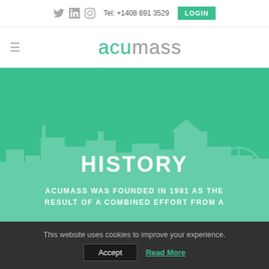Tel: +1408 691 3529  LOGIN
[Figure (logo): Acumass logo with hamburger menu icon]
[Figure (infographic): Green hero section with city building skyline silhouette background]
HISTORY
ACUMASS WAS FOUNDED IN 1981 AS THE RESULT OF A COMBINED EFFORT FROM A
This website uses cookies to improve your experience.
Accept  Read More